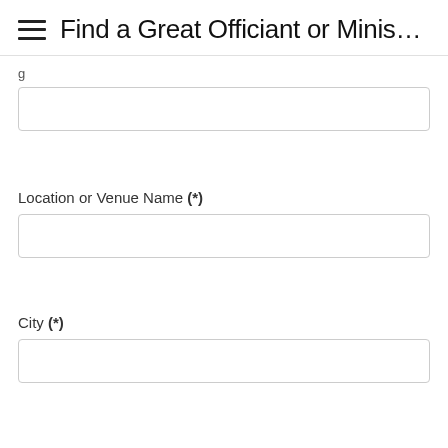Find a Great Officiant or Minis…
g
[Figure (other): Empty text input field]
Location or Venue Name (*)
[Figure (other): Empty text input field for Location or Venue Name]
City (*)
[Figure (other): Empty text input field for City]